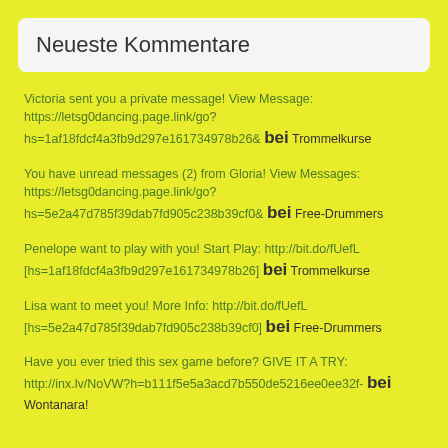Neueste Kommentare
Victoria sent you a private message! View Message: https://letsg0dancing.page.link/go?hs=1af18fdcf4a3fb9d297e161734978b26& bei Trommelkurse
You have unread messages (2) from Gloria! View Messages: https://letsg0dancing.page.link/go?hs=5e2a47d785f39dab7fd905c238b39cf0& bei Free-Drummers
Penelope want to play with you! Start Play: http://bit.do/fUefL [hs=1af18fdcf4a3fb9d297e161734978b26] bei Trommelkurse
Lisa want to meet you! More Info: http://bit.do/fUefL [hs=5e2a47d785f39dab7fd905c238b39cf0] bei Free-Drummers
Have you ever tried this sex game before? GIVE IT A TRY: http://inx.lv/NoVW?h=b111f5e5a3acd7b550de5216ee0ee32f- bei Wontanara!